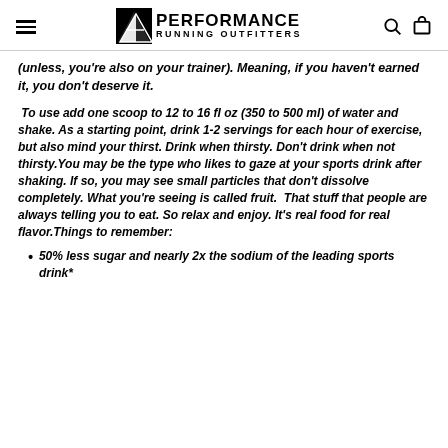PERFORMANCE RUNNING OUTFITTERS
(unless, you're also on your trainer). Meaning, if you haven't earned it, you don't deserve it.
To use add one scoop to 12 to 16 fl oz (350 to 500 ml) of water and shake. As a starting point, drink 1-2 servings for each hour of exercise, but also mind your thirst. Drink when thirsty. Don't drink when not thirsty. You may be the type who likes to gaze at your sports drink after shaking. If so, you may see small particles that don't dissolve completely. What you're seeing is called fruit. That stuff that people are always telling you to eat. So relax and enjoy. It's real food for real flavor. Things to remember:
50% less sugar and nearly 2x the sodium of the leading sports drink*